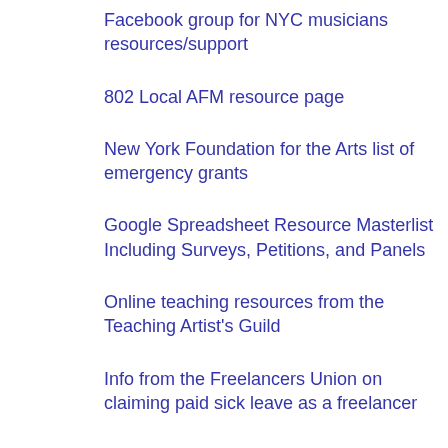Facebook group for NYC musicians resources/support
802 Local AFM resource page
New York Foundation for the Arts list of emergency grants
Google Spreadsheet Resource Masterlist Including Surveys, Petitions, and Panels
Online teaching resources from the Teaching Artist's Guild
Info from the Freelancers Union on claiming paid sick leave as a freelancer
Navigating filing for unemployment due to